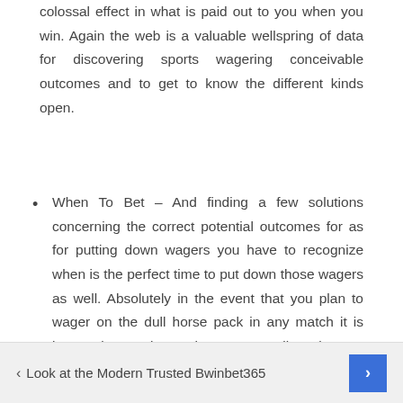colossal effect in what is paid out to you when you win. Again the web is a valuable wellspring of data for discovering sports wagering conceivable outcomes and to get to know the different kinds open.
When To Bet – And finding a few solutions concerning the correct potential outcomes for as for putting down wagers you have to recognize when is the perfect time to put down those wagers as well. Absolutely in the event that you plan to wager on the dull horse pack in any match it is immaculate to leave the wager until as late as could be expected under the circumstances.
‹ Look at the Modern Trusted Bwinbet365